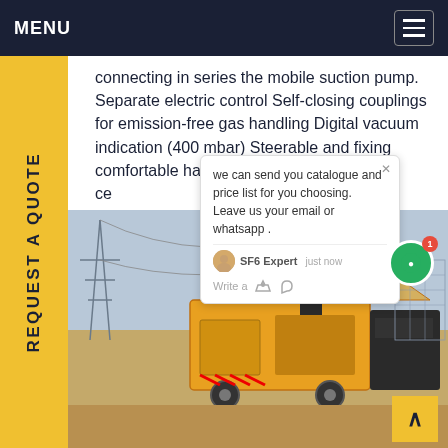MENU
connecting in series the mobile suction pump. Separate electric control Self-closing couplings for emission-free gas handling Digital vacuum indication (400 mbar) Steerable and fixing comfortable handling Different wre et ce
[Figure (photo): Yellow SF6 gas handling cart / mobile suction pump vehicle parked at an electrical substation with high-voltage transmission towers in the background.]
REQUEST A QUOTE
we can send you catalogue and price list for you choosing.
Leave us your email or whatsapp .